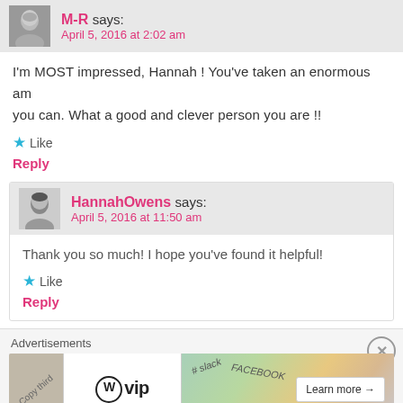M-R says: April 5, 2016 at 2:02 am
I'm MOST impressed, Hannah ! You've taken an enormous amount of trouble to explain as clearly as you can. What a good and clever person you are !!
Like
Reply
HannahOwens says: April 5, 2016 at 11:50 am
Thank you so much! I hope you've found it helpful!
Like
Reply
Advertisements